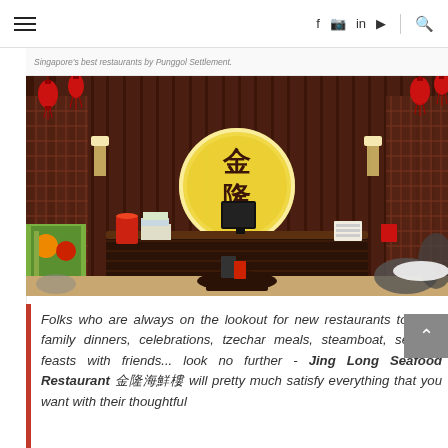≡  [hamburger menu]    f  [instagram]  in  [youtube]  |  [search]
Singapore's best restaurants by Punggol Settlement.
[Figure (photo): Interior of Jing Long Seafood Restaurant showing the reception/front desk area with illuminated Chinese characters logo on a dark wood-paneled wall with decorative lattice panels, red lanterns hanging from the ceiling, and restaurant seating visible.]
Folks who are always on the lookout for new restaurants to have family dinners, celebrations, tzechar meals, steamboat, seafood feasts with friends... look no further - Jing Long Seafood Restaurant 金隆海鮮樓 will pretty much satisfy everything that you want with their thoughtful